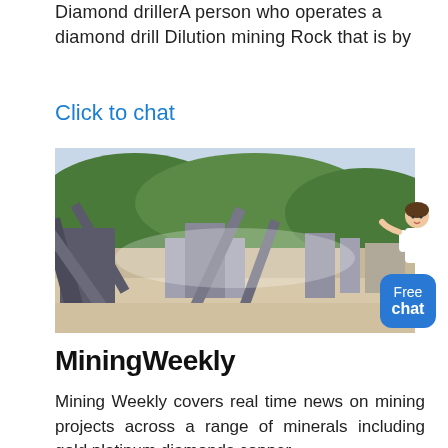Diamond drillerA person who operates a diamond drill Dilution mining Rock that is by
Click to chat
[Figure (photo): Aerial view of an open-pit mining operation with conveyor belts, processing equipment, dust, and hills in the background.]
MiningWeekly
Mining Weekly covers real time news on mining projects across a range of minerals including gold platinum diamonds copper